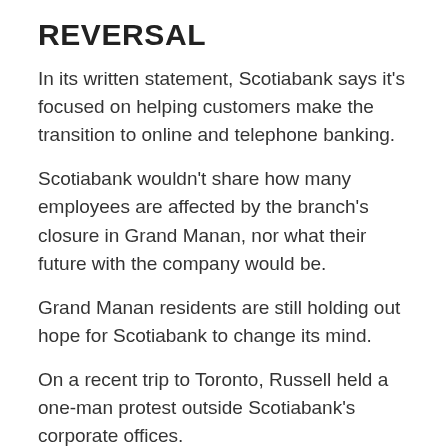REVERSAL
In its written statement, Scotiabank says it's focused on helping customers make the transition to online and telephone banking.
Scotiabank wouldn't share how many employees are affected by the branch's closure in Grand Manan, nor what their future with the company would be.
Grand Manan residents are still holding out hope for Scotiabank to change its mind.
On a recent trip to Toronto, Russell held a one-man protest outside Scotiabank's corporate offices.
“I spent two hours talking to many, many people